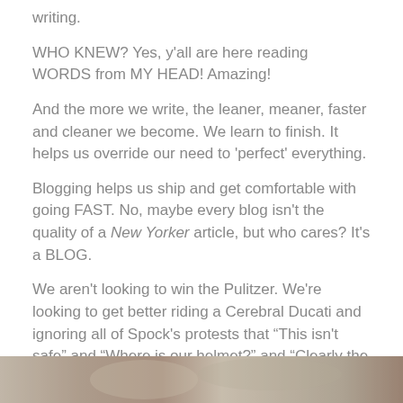writing.
WHO KNEW? Yes, y’all are here reading WORDS from MY HEAD! Amazing!
And the more we write, the leaner, meaner, faster and cleaner we become. We learn to finish. It helps us override our need to ‘perfect’ everything.
Blogging helps us ship and get comfortable with going FAST. No, maybe every blog isn’t the quality of a New Yorker article, but who cares? It’s a BLOG.
We aren’t looking to win the Pulitzer. We’re looking to get better riding a Cerebral Ducati and ignoring all of Spock’s protests that “This isn’t safe” and “Where is our helmet?” and “Clearly the speed limit forbids you going this fast.”
[Figure (photo): Partial photo strip at the bottom of the page, showing a blurred outdoor scene.]